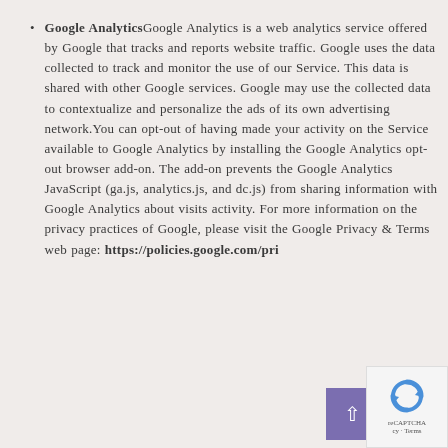Google Analytics Google Analytics is a web analytics service offered by Google that tracks and reports website traffic. Google uses the data collected to track and monitor the use of our Service. This data is shared with other Google services. Google may use the collected data to contextualize and personalize the ads of its own advertising network.You can opt-out of having made your activity on the Service available to Google Analytics by installing the Google Analytics opt-out browser add-on. The add-on prevents the Google Analytics JavaScript (ga.js, analytics.js, and dc.js) from sharing information with Google Analytics about visits activity. For more information on the privacy practices of Google, please visit the Google Privacy & Terms web page: https://policies.google.com/pri